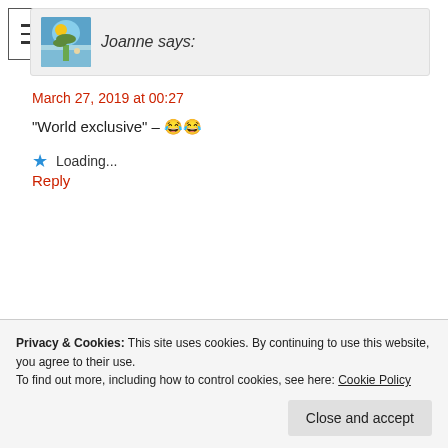[Figure (other): Hamburger menu icon — three horizontal lines in a bordered square]
Joanne says:
March 27, 2019 at 00:27
“World exclusive” – 😂😂
★ Loading...
Reply
Just Saying says:
Privacy & Cookies: This site uses cookies. By continuing to use this website, you agree to their use.
To find out more, including how to control cookies, see here: Cookie Policy
Close and accept